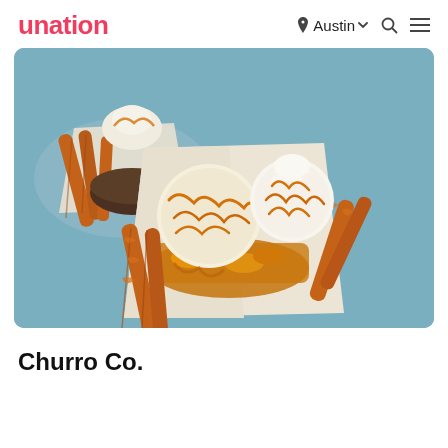unation  Austin  [search] [menu]
[Figure (photo): Churros with ice cream scoops drizzled with caramel sauce, served on white parchment paper, with whipped cream on top]
Churro Co.